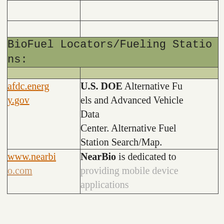| URL | Description |
| --- | --- |
|  |  |
|  |  |
| BioFuel Locators/Fueling Stations: |  |
|  |  |
| afdc.energy.gov | U.S. DOE Alternative Fuels and Advanced Vehicle Data Center. Alternative Fuel Station Search/Map. |
| www.nearbio.com | NearBio is dedicated to providing mobile device applications |